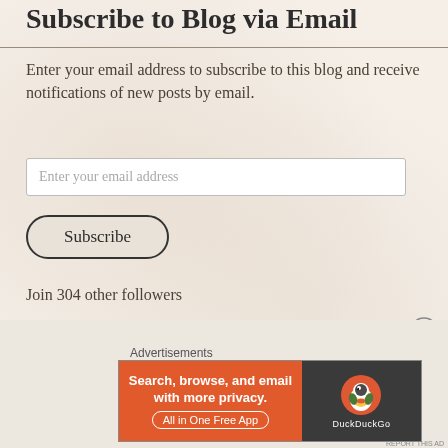Subscribe to Blog via Email
Enter your email address to subscribe to this blog and receive notifications of new posts by email.
Enter your email address
Subscribe
Join 304 other followers
Recent Comments
[Figure (other): DuckDuckGo advertisement banner: 'Search, browse, and email with more privacy. All in One Free App' with DuckDuckGo duck logo on dark background]
Advertisements
REPORT THIS AD